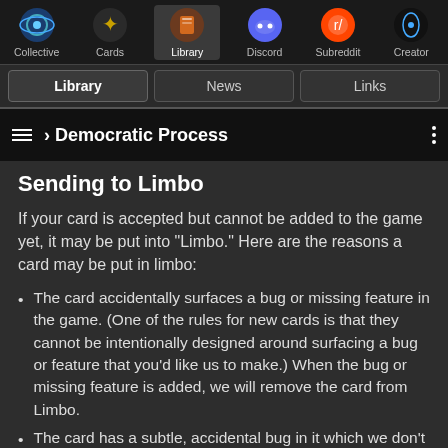Collective | Cards | Library | Discord | Subreddit | Creator
Library | News | Links
› Democratic Process
Sending to Limbo
If your card is accepted but cannot be added to the game yet, it may be put into "Limbo." Here are the reasons a card may be put in limbo:
The card accidentally surfaces a bug or missing feature in the game. (One of the rules for new cards is that they cannot be intentionally designed around surfacing a bug or feature that you'd like us to make.) When the bug or missing feature is added, we will remove the card from Limbo.
The card has a subtle, accidental bug in it which we don't have time to immediately fix. As soon as we fix